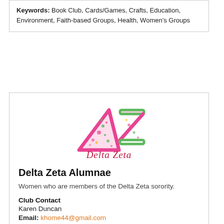Keywords: Book Club, Cards/Games, Crafts, Education, Environment, Faith-based Groups, Health, Women's Groups
[Figure (logo): Delta Zeta sorority logo with decorative Greek letters Delta and Zeta in pink and green floral pattern, with 'Delta Zeta' in pink cursive script below]
Delta Zeta Alumnae
Women who are members of the Delta Zeta sorority.
Club Contact
Karen Duncan
Email: khome44@gmail.com
Phone: 9738095074